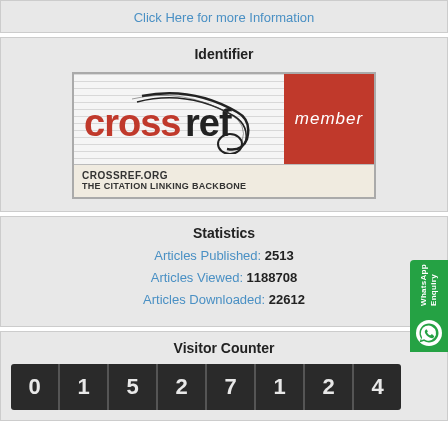Click Here for more Information
Identifier
[Figure (logo): Crossref member logo: red and white badge with 'crossref' branding and 'member' label, CROSSREF.ORG THE CITATION LINKING BACKBONE]
Statistics
Articles Published: 2513
Articles Viewed: 1188708
Articles Downloaded: 22612
Visitor Counter
0 1 5 2 7 1 2 4